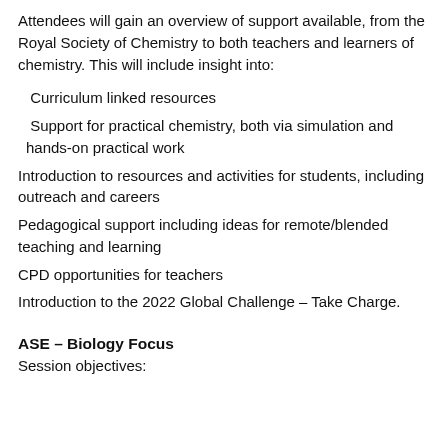Attendees will gain an overview of support available, from the Royal Society of Chemistry to both teachers and learners of chemistry. This will include insight into:
Curriculum linked resources
Support for practical chemistry, both via simulation and hands-on practical work
Introduction to resources and activities for students, including outreach and careers
Pedagogical support including ideas for remote/blended teaching and learning
CPD opportunities for teachers
Introduction to the 2022 Global Challenge – Take Charge.
ASE – Biology Focus
Session objectives: